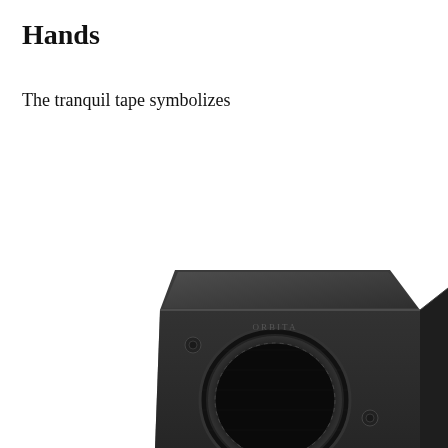Hands
The tranquil tape symbolizes
[Figure (photo): Black watch winder box - a dark matte black cube-shaped device with a circular opening on the front face and a logo on the front panel, viewed from a slight top-down angle. The top panel is flat and slightly lighter than the sides.]